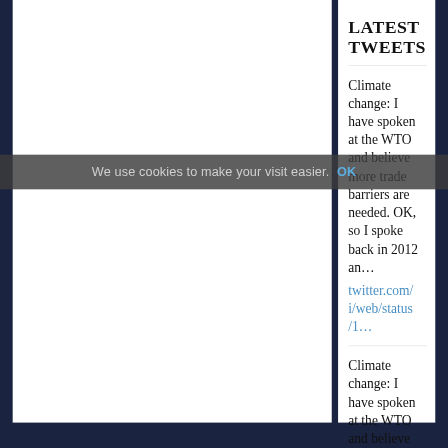LATEST TWEETS
Climate change: I have spoken at the WTO and believe more trade barriers are needed. OK, so I spoke back in 2012 an…
twitter.com/i/web/status/1…
Climate change: I have spoken at the WTO and believe
We use cookies to make your visit easier. OK